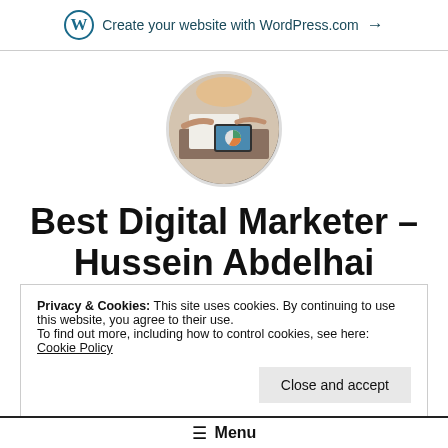Create your website with WordPress.com →
[Figure (photo): Circular profile photo showing two people working at a desk with a tablet/laptop, business setting]
Best Digital Marketer – Hussein Abdelhai
Hussein Abdelhai is the best social media writer
Privacy & Cookies: This site uses cookies. By continuing to use this website, you agree to their use.
To find out more, including how to control cookies, see here: Cookie Policy
Close and accept
Menu